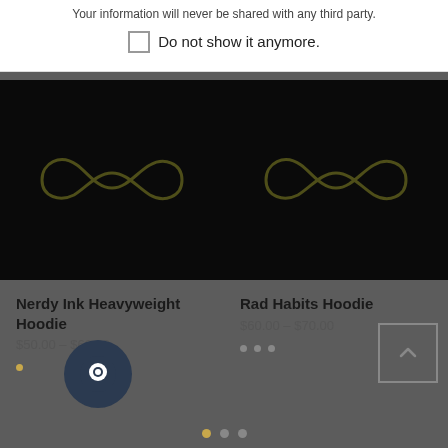Your information will never be shared with any third party.
Do not show it anymore.
[Figure (photo): Dark product image with olive/gold infinity-style logo for Nerdy Ink Heavyweight Hoodie]
Nerdy Ink Heavyweight Hoodie
$50.00 – $60.00
[Figure (photo): Dark product image with olive/gold infinity-style logo for Rad Habits Hoodie]
Rad Habits Hoodie
$60.00 – $70.00